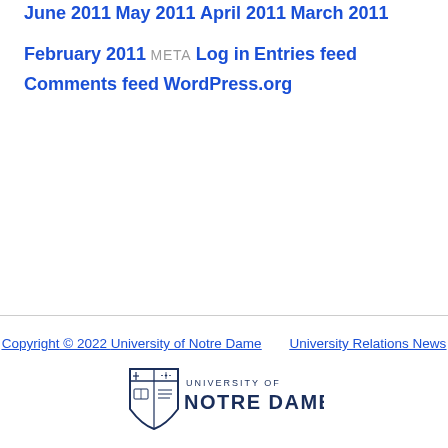June 2011
May 2011
April 2011
March 2011
February 2011
META
Log in
Entries feed
Comments feed
WordPress.org
Copyright © 2022 University of Notre Dame    University Relations News